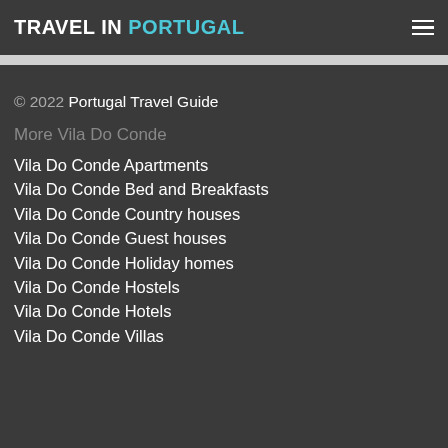TRAVEL IN PORTUGAL
© 2022 Portugal Travel Guide
More Vila Do Conde
Vila Do Conde Apartments
Vila Do Conde Bed and Breakfasts
Vila Do Conde Country houses
Vila Do Conde Guest houses
Vila Do Conde Holiday homes
Vila Do Conde Hostels
Vila Do Conde Hotels
Vila Do Conde Villas